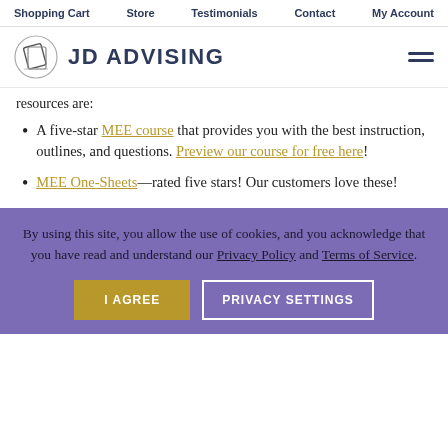Shopping Cart  Store  Testimonials  Contact  My Account
[Figure (logo): JD Advising logo with book/diploma icon and text JD ADVISING]
resources are:
A five-star MEE course that provides you with the best instruction, outlines, and questions. Preview our course for free here!
MEE One-Sheets—rated five stars! Our customers love these!
By using this site, you allow the use of cookies, and you acknowledge that you have read and understand our Privacy Policy and Terms of Service. I AGREE  PRIVACY SETTINGS